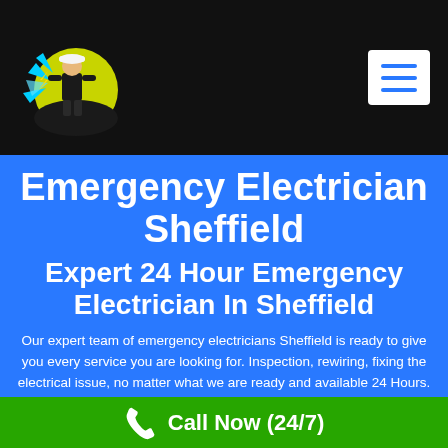Emergency Electrician Sheffield – Navigation header with logo and hamburger menu
Emergency Electrician Sheffield
Expert 24 Hour Emergency Electrician In Sheffield
Our expert team of emergency electricians Sheffield is ready to give you every service you are looking for. Inspection, rewiring, fixing the electrical issue, no matter what we are ready and available 24 Hours.
Call Now (24/7)